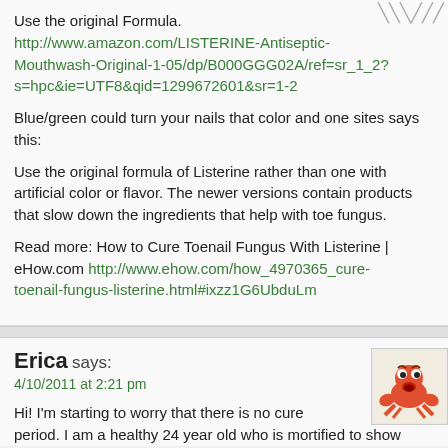Use the original Formula.
http://www.amazon.com/LISTERINE-Antiseptic-Mouthwash-Original-1-05/dp/B000GGG02A/ref=sr_1_2?s=hpc&ie=UTF8&qid=1299672601&sr=1-2
Blue/green could turn your nails that color and one sites says this:
Use the original formula of Listerine rather than one with artificial color or flavor. The newer versions contain products that slow down the ingredients that help with toe fungus.
Read more: How to Cure Toenail Fungus With Listerine | eHow.com http://www.ehow.com/how_4970365_cure-toenail-fungus-listerine.html#ixzz1G6UbduLm
Erica says:
4/10/2011 at 2:21 pm
Hi! I'm starting to worry that there is no cure period. I am a healthy 24 year old who is mortified to show